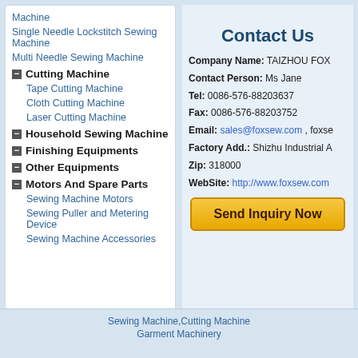Machine
Single Needle Lockstitch Sewing Machine
Multi Needle Sewing Machine
Cutting Machine
Tape Cutting Machine
Cloth Cutting Machine
Laser Cutting Machine
Household Sewing Machine
Finishing Equipments
Other Equipments
Motors And Spare Parts
Sewing Machine Motors
Sewing Puller and Metering Device
Sewing Machine Accessories
Contact Us
Company Name: TAIZHOU FOX
Contact Person: Ms Jane
Tel: 0086-576-88203637
Fax: 0086-576-88203752
Email: sales@foxsew.com , foxse
Factory Add.: Shizhu Industrial A
Zip: 318000
WebSite: http://www.foxsew.com
Send Inquiry Now
Sewing Machine,Cutting Machine
Garment Machinery